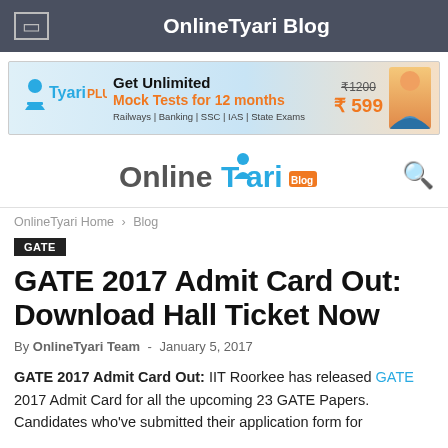OnlineTyari Blog
[Figure (infographic): TyariPLUS advertisement banner: Get Unlimited Mock Tests for 12 months, Railways | Banking | SSC | IAS | State Exams, price ₹1200 struck through, ₹599]
[Figure (logo): OnlineTyari Blog logo with search icon]
OnlineTyari Home › Blog
GATE
GATE 2017 Admit Card Out: Download Hall Ticket Now
By OnlineTyari Team - January 5, 2017
GATE 2017 Admit Card Out: IIT Roorkee has released GATE 2017 Admit Card for all the upcoming 23 GATE Papers. Candidates who've submitted their application form for